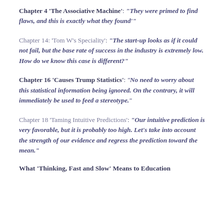Chapter 4 'The Associative Machine': "They were primed to find flaws, and this is exactly what they found"
Chapter 14: 'Tom W's Speciality': "The start-up looks as if it could not fail, but the base rate of success in the industry is extremely low. How do we know this case is different?"
Chapter 16 'Causes Trump Statistics': "No need to worry about this statistical information being ignored. On the contrary, it will immediately be used to feed a stereotype."
Chapter 18 'Taming Intuitive Predictions': "Our intuitive prediction is very favorable, but it is probably too high. Let's take into account the strength of our evidence and regress the prediction toward the mean."
What 'Thinking, Fast and Slow' Means to Education